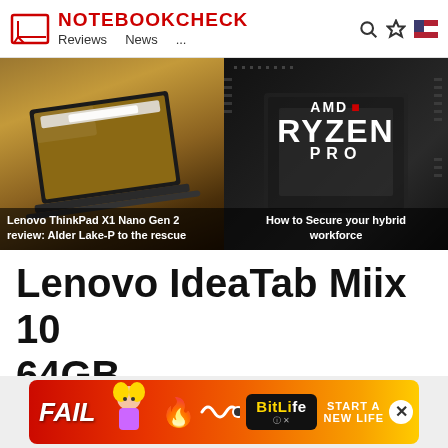NOTEBOOKCHECK — Reviews | News | ...
[Figure (screenshot): Left banner: Lenovo ThinkPad X1 Nano Gen 2 laptop on dark background with cheetah on screen]
Lenovo ThinkPad X1 Nano Gen 2 review: Alder Lake-P to the rescue
[Figure (photo): Right banner: AMD Ryzen Pro processor chip close-up]
How to Secure your hybrid workforce
Lenovo IdeaTab Miix 10 64GB
Specifications
[Figure (screenshot): Advertisement banner: BitLife game ad with FAIL text, animated character, fire, and 'START A NEW LIFE' tagline on red/orange gradient background]